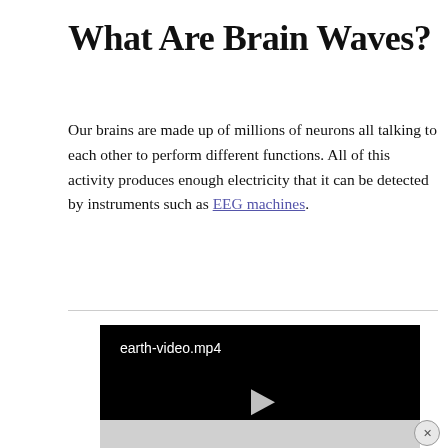What Are Brain Waves?
Our brains are made up of millions of neurons all talking to each other to perform different functions. All of this activity produces enough electricity that it can be detected by instruments such as EEG machines.
[Figure (screenshot): A black video player showing a file named 'earth-video.mp4' with a white play button triangle in the center]